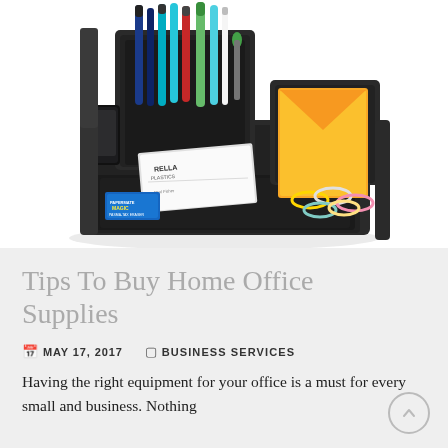[Figure (photo): A black plastic desktop organizer/caddy filled with colorful pens (blue, red, green, teal), a smartphone, business cards (Rella Plastics), colorful paper clips, a yellow envelope/sticky note, and a small blue eraser box. Photographed from above at an angle on a white background.]
Tips To Buy Home Office Supplies
MAY 17, 2017   BUSINESS SERVICES
Having the right equipment for your office is a must for every small and business. Nothing